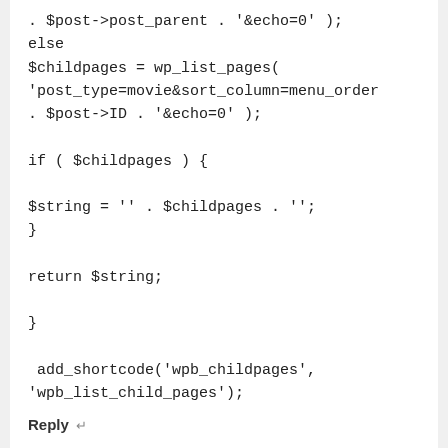. $post->post_parent . '&echo=0' );
else
$childpages = wp_list_pages(
'post_type=movie&sort_column=menu_order
. $post->ID . '&echo=0' );

if ( $childpages ) {

$string = '' . $childpages . '';
}

return $string;

}

 add_shortcode('wpb_childpages',
'wpb_list_child_pages');
Reply